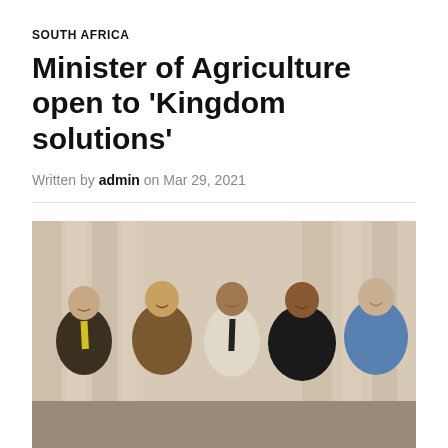SOUTH AFRICA
Minister of Agriculture open to 'Kingdom solutions'
Written by admin on Mar 29, 2021
[Figure (photo): Group photo of five people standing together indoors in front of curtains. From left: man in dark suit with yellow tie, man in brown shirt, man in white checkered shirt with dark tie, woman in black top, older man in blue sweater.]